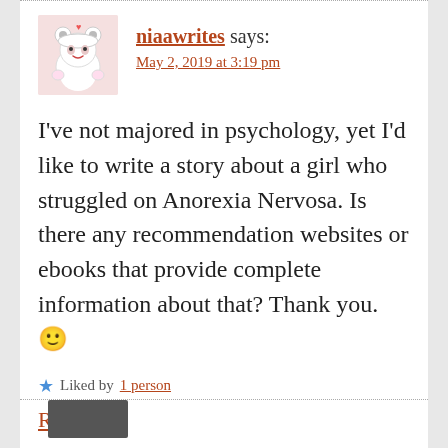[Figure (illustration): Avatar image of a cute cartoon character (anime-style girl with panda hat)]
niaawrites says:
May 2, 2019 at 3:19 pm
I’ve not majored in psychology, yet I’d like to write a story about a girl who struggled on Anorexia Nervosa. Is there any recommendation websites or ebooks that provide complete information about that? Thank you. 🙂
★ Liked by 1 person
Reply